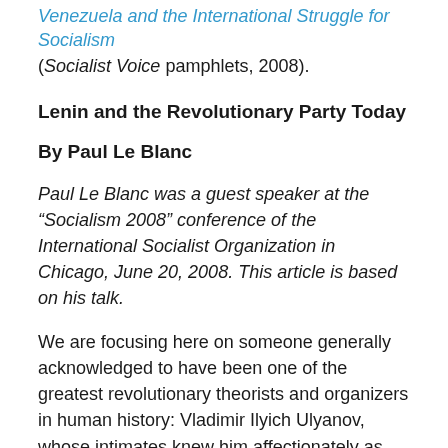Venezuela and the International Struggle for Socialism (Socialist Voice pamphlets, 2008).
Lenin and the Revolutionary Party Today
By Paul Le Blanc
Paul Le Blanc was a guest speaker at the “Socialism 2008” conference of the International Socialist Organization in Chicago, June 20, 2008. This article is based on his talk.
We are focusing here on someone generally acknowledged to have been one of the greatest revolutionary theorists and organizers in human history: Vladimir Ilyich Ulyanov, whose intimates knew him affectionately as “Ilyich,” but whom the world knew by his